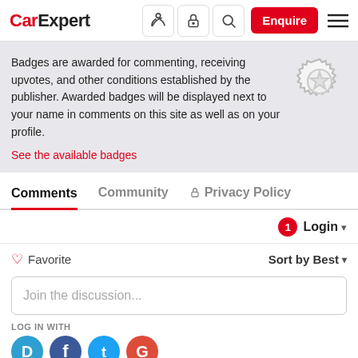CarExpert — navigation header with logo, icons, Enquire button, and menu
Badges are awarded for commenting, receiving upvotes, and other conditions established by the publisher. Awarded badges will be displayed next to your name in comments on this site as well as on your profile.
See the available badges
Comments   Community   🔒 Privacy Policy
1  Login ▾
♡ Favorite    Sort by Best ▾
Join the discussion...
LOG IN WITH